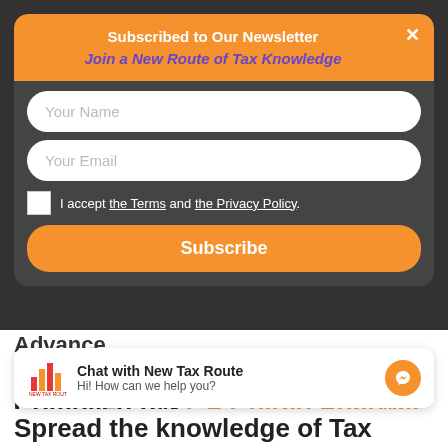Subscribed to Our Newsletter
Join a New Route of Tax Knowledge
Your Name
Your Email
I accept the Terms and the Privacy Policy.
Subscribe
Advance
⚡ by Convertful
Compiled by- CA Chirag Agarwal (Practicing Chartered
Chat with New Tax Route
Hi! How can we help you?
Spread the knowledge of Tax